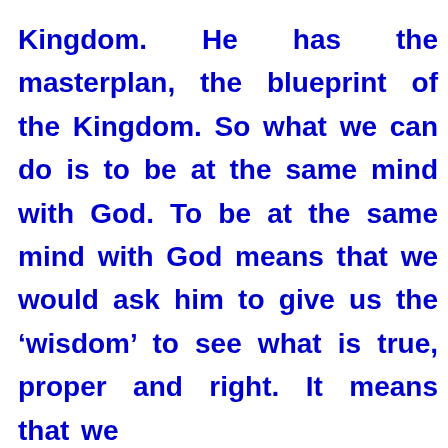Kingdom. He has the masterplan, the blueprint of the Kingdom. So what we can do is to be at the same mind with God. To be at the same mind with God means that we would ask him to give us the 'wisdom' to see what is true, proper and right. It means that we